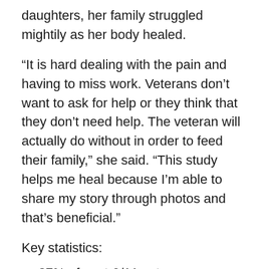daughters, her family struggled mightily as her body healed.
“It is hard dealing with the pain and having to miss work. Veterans don’t want to ask for help or they think that they don’t need help. The veteran will actually do without in order to feed their family,” she said. “This study helps me heal because I’m able to share my story through photos and that’s beneficial.”
Key statistics:
27% of post-9/11 veterans experience food insecurity
41% of post-9/11 veterans have a service-connected disability
5.2% of veterans with a service-connected disability...